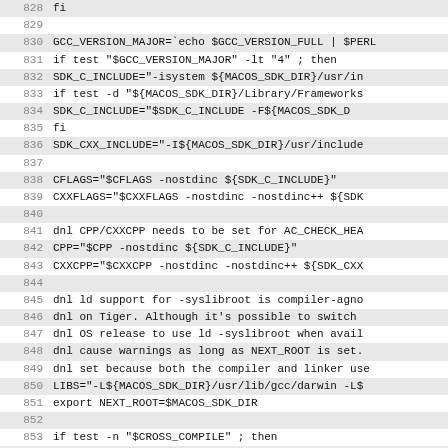Code listing lines 828-859, shell script source code